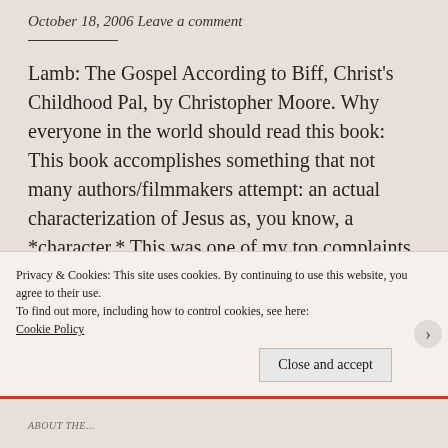October 18, 2006
Leave a comment
Lamb: The Gospel According to Biff, Christ's Childhood Pal, by Christopher Moore. Why everyone in the world should read this book: This book accomplishes something that not many authors/filmmakers attempt: an actual characterization of Jesus as, you know, a *character.* This was one of my top complaints about "The Passion" (and that's saying
Privacy & Cookies: This site uses cookies. By continuing to use this website, you agree to their use.
To find out more, including how to control cookies, see here: Cookie Policy
Close and accept